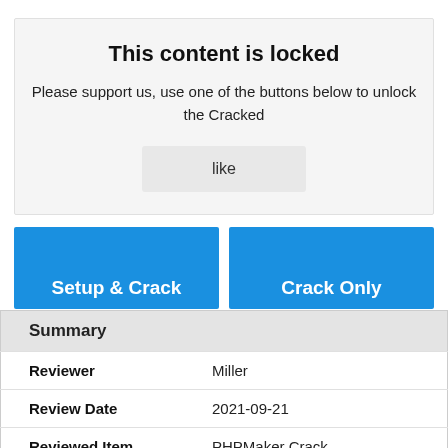This content is locked
Please support us, use one of the buttons below to unlock the Cracked
like
[Figure (other): Two blue buttons labeled 'Setup & Crack' and 'Crack Only']
| Summary |  |
| --- | --- |
| Reviewer | Miller |
| Review Date | 2021-09-21 |
| Reviewed Item | PHPMaker Crack |
| Author Rating | ⭐⭐⭐⭐⭐ |